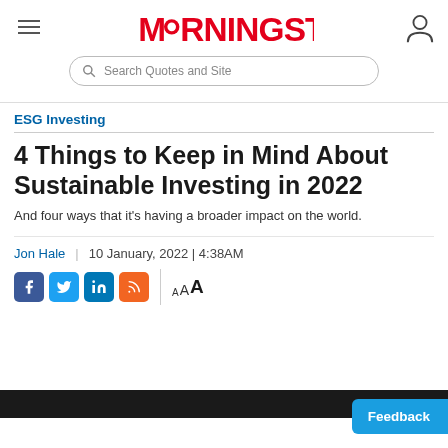Morningstar — Search Quotes and Site
ESG Investing
4 Things to Keep in Mind About Sustainable Investing in 2022
And four ways that it's having a broader impact on the world.
Jon Hale | 10 January, 2022 | 4:38AM
[Figure (screenshot): Social sharing icons (Facebook, Twitter, LinkedIn, RSS) and font size controls (AAA)]
[Figure (photo): Dark image at the bottom of the page, partially visible]